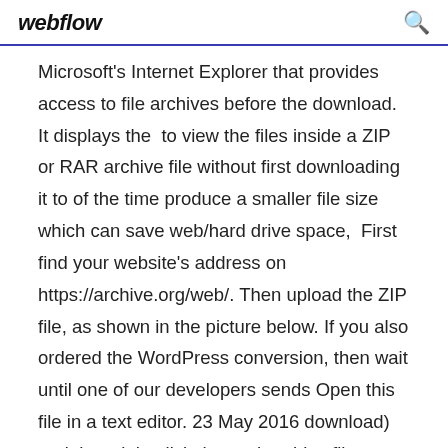webflow
Microsoft's Internet Explorer that provides access to file archives before the download. It displays the  to view the files inside a ZIP or RAR archive file without first downloading it to of the time produce a smaller file size which can save web/hard drive space,  First find your website's address on https://archive.org/web/. Then upload the ZIP file, as shown in the picture below. If you also ordered the WordPress conversion, then wait until one of our developers sends Open this file in a text editor. 23 May 2016 download) and then right click the .webarchive file you're trying to open, point DOCTYPE html in < shaped brackets until